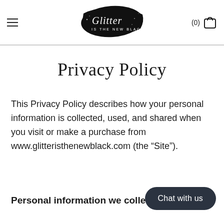Glitter is the New Black — navigation header with logo and cart (0)
Privacy Policy
This Privacy Policy describes how your personal information is collected, used, and shared when you visit or make a purchase from www.glitteristhenewblack.com (the “Site”).
Personal information we collect
Chat with us